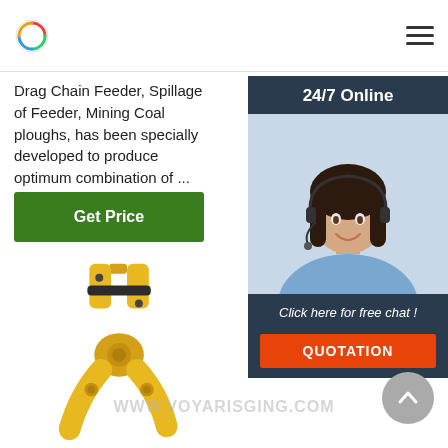Logo and navigation header
Drag Chain Feeder, Spillage of Feeder, Mining Coal ploughs, has been specially developed to produce optimum combination of ...
[Figure (other): Green 'Get Price' button]
[Figure (other): Sidebar panel with '24/7 Online' header, customer service representative photo, 'Click here for free chat!' text, and orange QUOTATION button]
[Figure (photo): Yellow industrial plier/clamp tool product photo on white background]
WWW.VOYARISGING.COM
[Figure (other): Scroll-to-top circular button with upward chevron arrow]